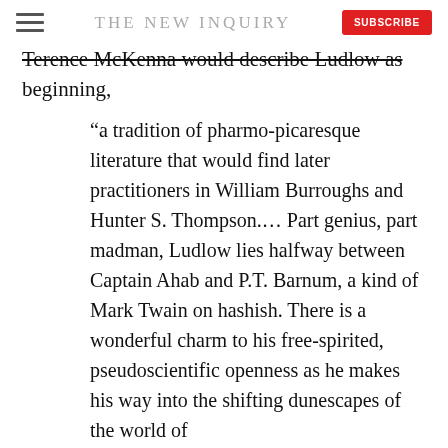THE NEW INQUIRY
Terence McKenna would describe Ludlow as beginning,
“a tradition of pharmo-picaresque literature that would find later practitioners in William Burroughs and Hunter S. Thompson.... Part genius, part madman, Ludlow lies halfway between Captain Ahab and P.T. Barnum, a kind of Mark Twain on hashish. There is a wonderful charm to his free-spirited, pseudoscientific openness as he makes his way into the shifting dunescapes of the world of